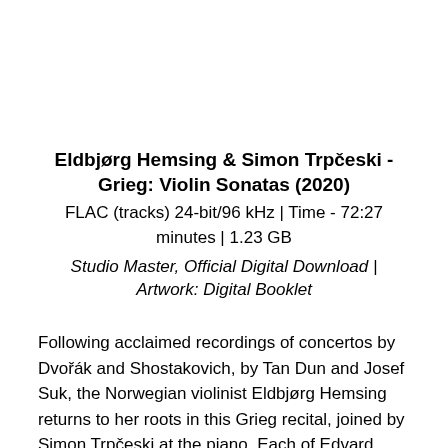Eldbjørg Hemsing & Simon Trpčeski - Grieg: Violin Sonatas (2020)
FLAC (tracks) 24-bit/96 kHz | Time - 72:27 minutes | 1.23 GB
Studio Master, Official Digital Download | Artwork: Digital Booklet
Following acclaimed recordings of concertos by Dvořák and Shostakovich, by Tan Dun and Josef Suk, the Norwegian violinist Eldbjørg Hemsing returns to her roots in this Grieg recital, joined by Simon Trpčeski at the piano. Each of Edvard Grieg's violin sonatas marks a decisive phase in the composer's artistic development. He completed the E major Sonata at the age of 22, while